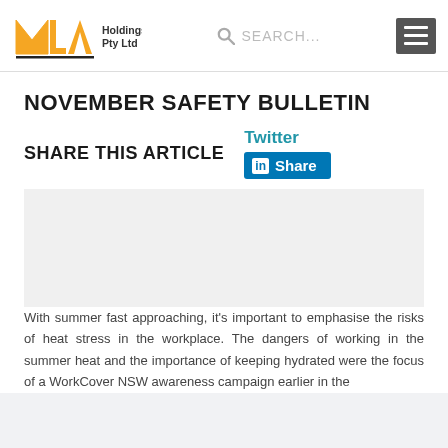MLA Holdings Pty Ltd — SEARCH... [menu]
NOVEMBER SAFETY BULLETIN
SHARE THIS ARTICLE  Twitter  in Share
[Figure (photo): Empty/placeholder image area for the November Safety Bulletin article]
With summer fast approaching, it's important to emphasise the risks of heat stress in the workplace. The dangers of working in the summer heat and the importance of keeping hydrated were the focus of a WorkCover NSW awareness campaign earlier in the